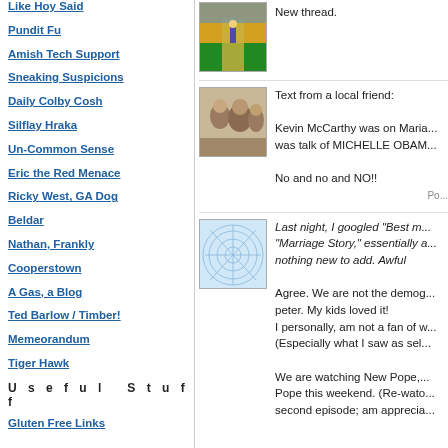Like Hoy Said
Pundit Fu
Amish Tech Support
Sneaking Suspicions
Daily Colby Cosh
Silflay Hraka
Un-Common Sense
Eric the Red Menace
Ricky West, GA Dog
Beldar
Nathan, Frankly
Cooperstown
A Gas, a Blog
Ted Barlow / Timber!
Memeorandum
Tiger Hawk
Useful Stuff
Gluten Free Links
[Figure (photo): Yellow brick road scene thumbnail]
New thread.
[Figure (photo): Old black and white photo of people]
Text from a local friend:

Kevin McCarthy was on Maria... was talk of MICHELLE OBAM...

No and no and NO!!
[Figure (illustration): Web/network spider web graphic]
Last night, I googled "Best m... "Marriage Story," essentially ... nothing new to add. Awful

Agree. We are not the demog... peter. My kids loved it!
I personally, am not a fan of w... (Especially what I saw as sel...

We are watching New Pope,... Pope this weekend. (Re-wato... second episode; am apprecia...